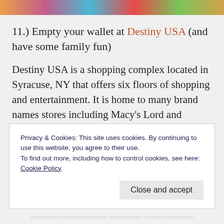[Figure (photo): Colorful decorative image strip at the top of the page]
11.) Empty your wallet at Destiny USA (and have some family fun)
Destiny USA is a shopping complex located in Syracuse, NY that offers six floors of shopping and entertainment. It is home to many brand names stores including Macy’s Lord and Taylor, Aeropostale, American Eagle, and Coach. The complex also offers many different options for entertainment, including a mirror maze, climbing course, lasertag, indoor glow
Privacy & Cookies: This site uses cookies. By continuing to use this website, you agree to their use.
To find out more, including how to control cookies, see here: Cookie Policy
Close and accept